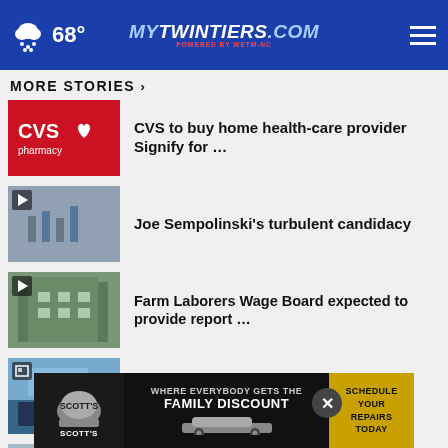68° mytwintiers.com
MORE STORIES ›
CVS to buy home health-care provider Signify for …
Joe Sempolinski's turbulent candidacy
Farm Laborers Wage Board expected to provide report …
SEE IT: $47.9 million home is Indiana's priciest
School baptizes 100 kids with…
Man charged in logger abduction
[Figure (screenshot): Scott's auto repair advertisement banner: WHERE EVERYBODY GETS THE FAMILY DISCOUNT — SCHEDULE YOUR REPAIRS TODAY]